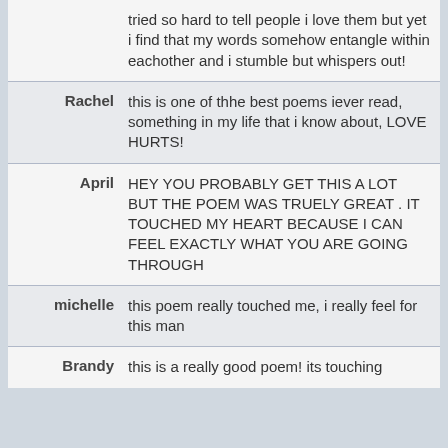tried so hard to tell people i love them but yet i find that my words somehow entangle within eachother and i stumble but whispers out!
Rachel: this is one of thhe best poems iever read, something in my life that i know about, LOVE HURTS!
April: HEY YOU PROBABLY GET THIS A LOT BUT THE POEM WAS TRUELY GREAT . IT TOUCHED MY HEART BECAUSE I CAN FEEL EXACTLY WHAT YOU ARE GOING THROUGH
michelle: this poem really touched me, i really feel for this man
Brandy: this is a really good poem! its touching